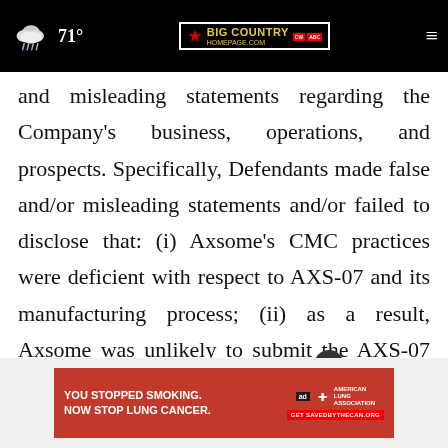71° Big Country Homepage
and misleading statements regarding the Company's business, operations, and prospects. Specifically, Defendants made false and/or misleading statements and/or failed to disclose that: (i) Axsome's CMC practices were deficient with respect to AXS-07 and its manufacturing process; (ii) as a result, Axsome was unlikely to submit the AXS-07 NDA on its initially represented timeline; (iii) the foregoing CMC issues... t the FDA... ingly,
[Figure (screenshot): Advertisement overlay: YOU STOPPED SMOKING. NOW STOP LUNG CANCER. American Lung Association. Get SAVEDBYTHECAN.ORG]